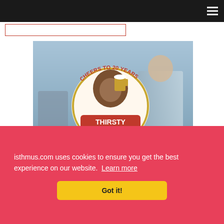Navigation bar with hamburger menu
[Figure (screenshot): Thirsty Troll Brew Fest advertisement image. Text reads: CHEERS TO 20 YEARS, Thirsty Troll Brew Fest logo with bear holding beer mug, SEPTEMBER 10, GRUNDAHL PARK, MOUNT HOREB, ThirstyTrollBrewFest.com. Background shows outdoor festival scene with people.]
isthmus.com uses cookies to ensure you get the best experience on our website. Learn more
Got it!